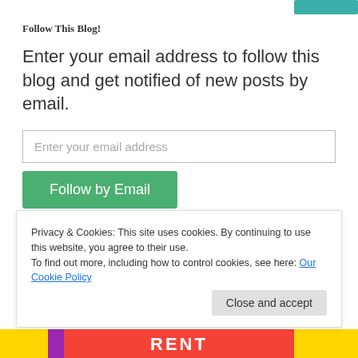Follow This Blog!
Enter your email address to follow this blog and get notified of new posts by email.
Enter your email address
Follow by Email
Join 1,718 other followers
follow this blog with
Privacy & Cookies: This site uses cookies. By continuing to use this website, you agree to their use.
To find out more, including how to control cookies, see here: Our Cookie Policy
Close and accept
[Figure (screenshot): RENT banner with purple, red, and yellow colors at bottom of page]